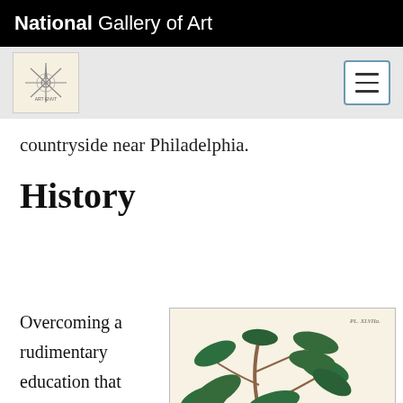National Gallery of Art
countryside near Philadelphia.
History
Overcoming a rudimentary education that ended at the age of twelve, Humphry Marshall gained expertise in American
[Figure (illustration): Botanical illustration of a cherry branch with dark green leaves and red cherries, printed with plate number PL. XLVIIa in upper right corner, on cream-colored background. Framed with thin border.]